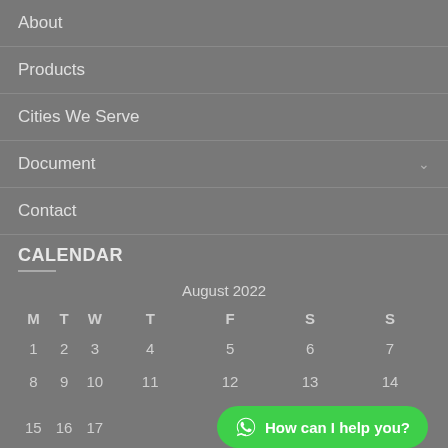About
Products
Cities We Serve
Document
Contact
CALENDAR
| M | T | W | T | F | S | S |
| --- | --- | --- | --- | --- | --- | --- |
| 1 | 2 | 3 | 4 | 5 | 6 | 7 |
| 8 | 9 | 10 | 11 | 12 | 13 | 14 |
| 15 | 16 | 17 |  |  |  |  |
| 22 | 23 | 24 | 25 | 26 | 27 | 28 |
[Figure (other): WhatsApp chat button with green background showing 'How can I help you?' text]